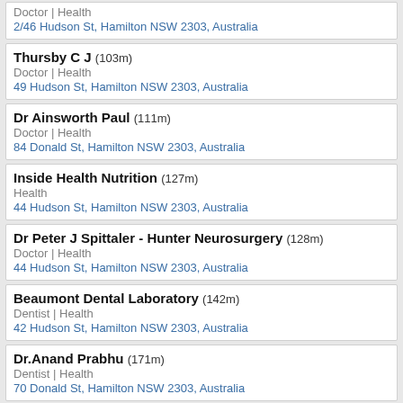Doctor | Health
2/46 Hudson St, Hamilton NSW 2303, Australia
Thursby C J (103m)
Doctor | Health
49 Hudson St, Hamilton NSW 2303, Australia
Dr Ainsworth Paul (111m)
Doctor | Health
84 Donald St, Hamilton NSW 2303, Australia
Inside Health Nutrition (127m)
Health
44 Hudson St, Hamilton NSW 2303, Australia
Dr Peter J Spittaler - Hunter Neurosurgery (128m)
Doctor | Health
44 Hudson St, Hamilton NSW 2303, Australia
Beaumont Dental Laboratory (142m)
Dentist | Health
42 Hudson St, Hamilton NSW 2303, Australia
Dr.Anand Prabhu (171m)
Dentist | Health
70 Donald St, Hamilton NSW 2303, Australia
Submit a review for Educational Case Management